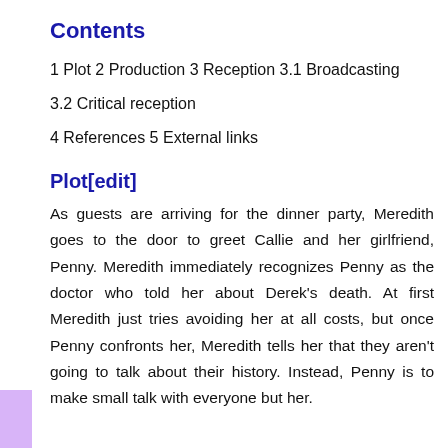Contents
1 Plot 2 Production 3 Reception 3.1 Broadcasting
3.2 Critical reception
4 References 5 External links
Plot[edit]
As guests are arriving for the dinner party, Meredith goes to the door to greet Callie and her girlfriend, Penny. Meredith immediately recognizes Penny as the doctor who told her about Derek's death. At first Meredith just tries avoiding her at all costs, but once Penny confronts her, Meredith tells her that they aren't going to talk about their history. Instead, Penny is to make small talk with everyone but her.